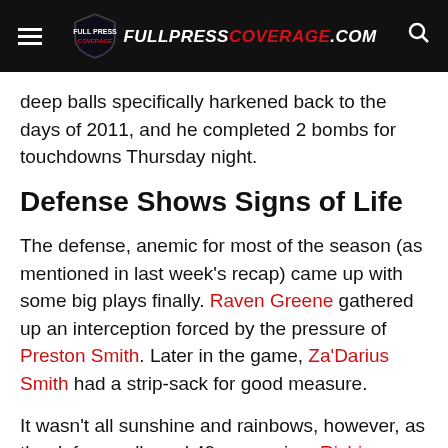FULLPRESSCOVERAGE.COM
deep balls specifically harkened back to the days of 2011, and he completed 2 bombs for touchdowns Thursday night.
Defense Shows Signs of Life
The defense, anemic for most of the season (as mentioned in last week's recap) came up with some big plays finally. Raven Greene gathered up an interception forced by the pressure of Preston Smith. Later in the game, Za'Darius Smith had a strip-sack for good measure.
It wasn't all sunshine and rainbows, however, as the defense allowed 49ers receiver Richie James to rack up 184 yards on 9 catches (though some big chunks of that came in garbage time against backups). It's important to